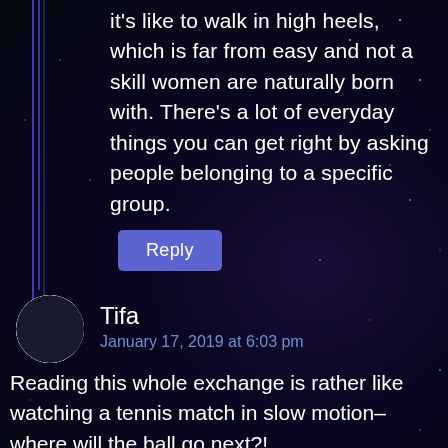it's like to walk in high heels, which is far from easy and not a skill women are naturally born with. There's a lot of everyday things you can get right by asking people belonging to a specific group.
Reply
Tifa
January 17, 2019 at 6:03 pm
Reading this whole exchange is rather like watching a tennis match in slow motion–where will the ball go next?!